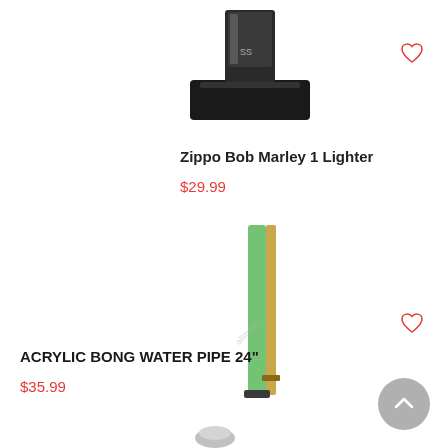[Figure (photo): Photo of a Zippo Bob Marley lighter on a black display stand, partially visible at top]
Zippo Bob Marley 1 Lighter
$29.99
[Figure (photo): Photo of a tall green and gold acrylic bong water pipe, 24 inches]
ACRYLIC BONG WATER PIPE 24"
$35.99
[Figure (photo): Partial view of another product at the bottom of the page]